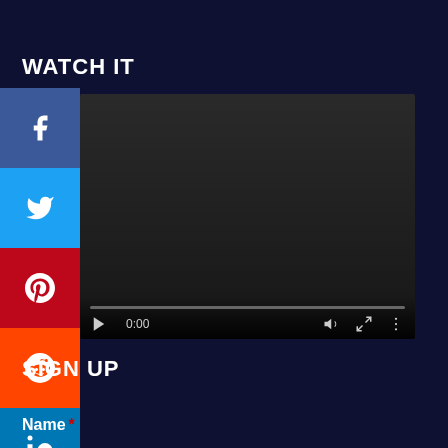WATCH IT
[Figure (screenshot): Social share buttons (Facebook, Twitter, Pinterest, Reddit, LinkedIn, Tumblr) stacked vertically on the left side]
[Figure (screenshot): Embedded video player with dark background showing video controls: play button, time display 0:00, volume icon, fullscreen icon, and more options icon, with a progress bar at the bottom]
SIGN UP
Name *